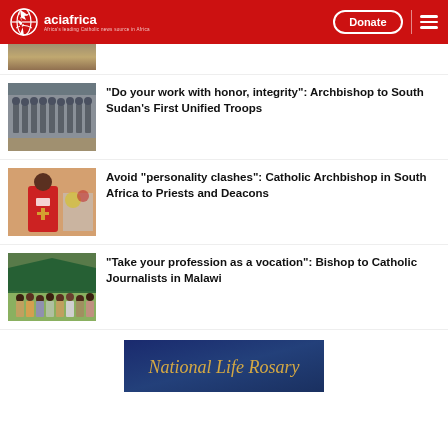aciafrica — Africa's leading Catholic news source
[Figure (photo): Partial top image, partially cropped — appears to show some animal or ground texture]
“Do your work with honor, integrity”: Archbishop to South Sudan’s First Unified Troops
[Figure (photo): Rows of uniformed soldiers marching]
Avoid “personality clashes”: Catholic Archbishop in South Africa to Priests and Deacons
[Figure (photo): Catholic Archbishop in red vestments at a church event]
“Take your profession as a vocation”: Bishop to Catholic Journalists in Malawi
[Figure (photo): Group of people posing outdoors under a tent]
[Figure (photo): Bottom banner image: National Life Rosary text on blue background]